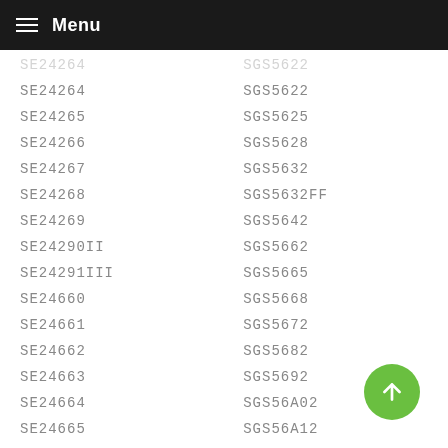Menu
| SE24264 | SGS5622 |
| SE24265 | SGS5625 |
| SE24266 | SGS5628 |
| SE24267 | SGS5632 |
| SE24268 | SGS5632FF |
| SE24269 | SGS5642 |
| SE24290II | SGS5662 |
| SE24291III | SGS5665 |
| SE24660 | SGS5668 |
| SE24661 | SGS5672 |
| SE24662 | SGS5682 |
| SE24663 | SGS5692 |
| SE24664 | SGS56A02 |
| SE24665 | SGS56A12 |
| SE24860 | SGS56A22 |
| SE24861 | SGS56A25 |